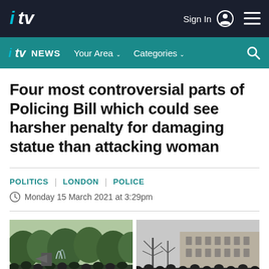ITV | Sign In | Navigation menu
ITV NEWS | Your Area | Categories | Search
Four most controversial parts of Policing Bill which could see harsher penalty for damaging statue than attacking woman
POLITICS | LONDON | POLICE
Monday 15 March 2021 at 3:29pm
[Figure (photo): Two protest crowd photos side by side — left shows a summer outdoor protest with trees and speakers on a stage; right shows a winter protest crowd in front of a large classical building]